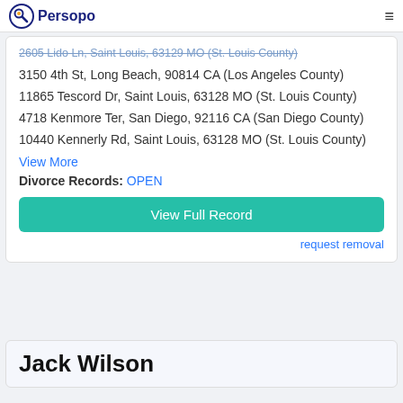Persopo
2605 Lido Ln, Saint Louis, 63129 MO (St. Louis County)
3150 4th St, Long Beach, 90814 CA (Los Angeles County)
11865 Tescord Dr, Saint Louis, 63128 MO (St. Louis County)
4718 Kenmore Ter, San Diego, 92116 CA (San Diego County)
10440 Kennerly Rd, Saint Louis, 63128 MO (St. Louis County)
View More
Divorce Records: OPEN
View Full Record
request removal
Jack Wilson